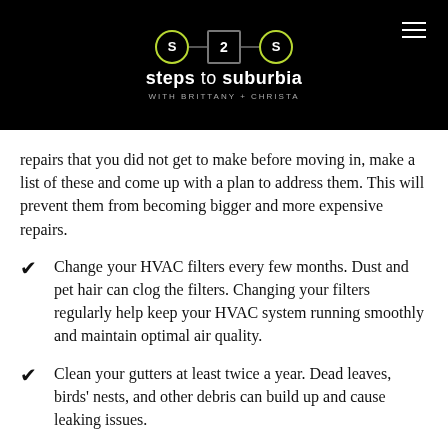steps to suburbia — WITH BRITTANY + CHRISTA
repairs that you did not get to make before moving in, make a list of these and come up with a plan to address them. This will prevent them from becoming bigger and more expensive repairs.
Change your HVAC filters every few months. Dust and pet hair can clog the filters. Changing your filters regularly help keep your HVAC system running smoothly and maintain optimal air quality.
Clean your gutters at least twice a year. Dead leaves, birds' nests, and other debris can build up and cause leaking issues.
Drain your water heater once per year. This will